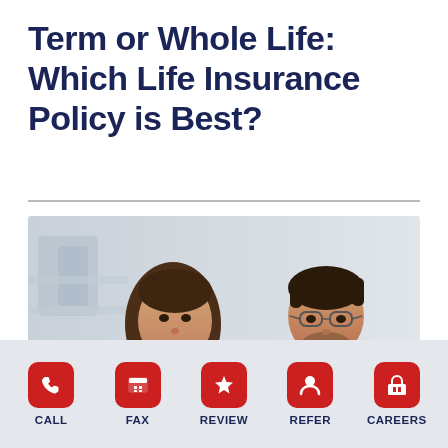Term or Whole Life: Which Life Insurance Policy is Best?
[Figure (photo): A woman and a man looking at documents and a laptop together, appearing to review insurance or financial information]
CALL  FAX  REVIEW  REFER  CAREERS